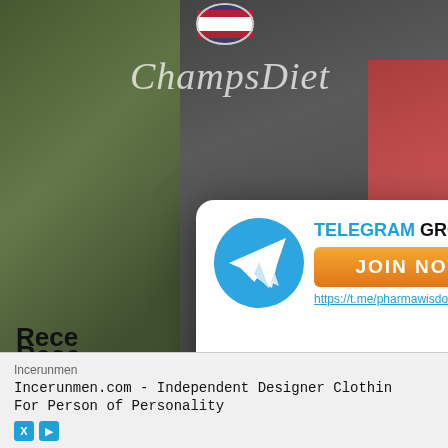[Figure (screenshot): ChampsDiet website background with food imagery, dark overlay, and script font logo. Shows a flag circle at top, food photos on left and right sides.]
[Figure (infographic): White modal popup overlay with Telegram group JOIN NOW button and WhatsApp group JOIN NOW button. Telegram icon on left, orange JOIN NOW button, link https://t.me/pharmawisdom. Below: green WhatsApp JOIN OUR WHATSAPP GROUP NOW banner. Red X close button at bottom right.]
TELEGRAM GROUP
JOIN NOW
https://t.me/pharmawisdom
JOIN OUR WHATSAPP GROUP NOW
Rece
FRESHERS on 27th
Incerunmen
Incerunmen.com - Independent Designer Clothin For Person of Personality